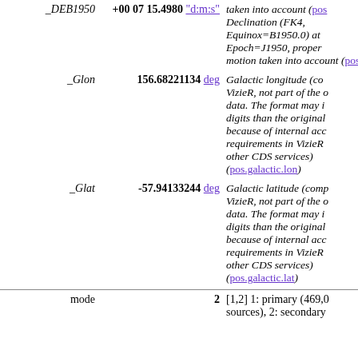| Field | Value | Description |
| --- | --- | --- |
| _DEB1950 | +00 07 15.4980 "d:m:s" | Declination (FK4, Equinox=B1950.0) at Epoch=J1950, proper motion taken into account (pos...) |
| _Glon | 156.68221134 deg | Galactic longitude (computed by VizieR, not part of the original data. The format may include more digits than the original because of internal accuracy requirements in VizieR and other CDS services) (pos.galactic.lon) |
| _Glat | -57.94133244 deg | Galactic latitude (computed by VizieR, not part of the original data. The format may include more digits than the original because of internal accuracy requirements in VizieR and other CDS services) (pos.galactic.lat) |
| mode | 2 | [1,2] 1: primary (469,0 sources), 2: secondary |